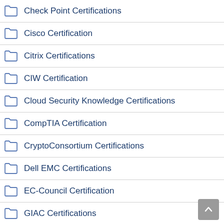Check Point Certifications
Cisco Certification
Citrix Certifications
CIW Certification
Cloud Security Knowledge Certifications
CompTIA Certification
CryptoConsortium Certifications
Dell EMC Certifications
EC-Council Certification
GIAC Certifications